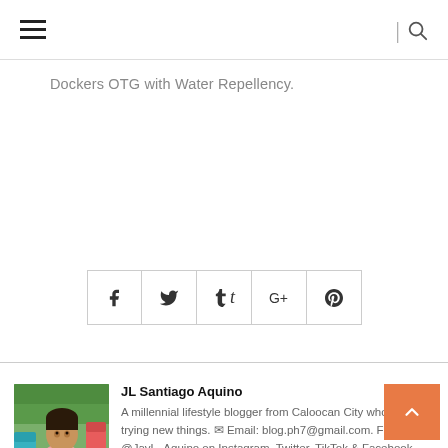Navigation bar with hamburger menu and search icon
Dockers OTG with Water Repellency.
[Figure (other): Social share buttons: Facebook (f), Twitter (bird), Tumblr (t), Google+ (G+), Pinterest (P) — five bordered square buttons in a row]
[Figure (photo): Profile photo of JL Santiago Aquino — a young man in a pink shirt, seated with arms crossed, outdoors with greenery and colorful chairs in the background]
JL Santiago Aquino
A millennial lifestyle blogger from Caloocan City who adores trying new things. ✉ Email: blog.ph7@gmail.com. Follow @JayL_Aquino on Instagram, Twitter, TikTok & Facebook.